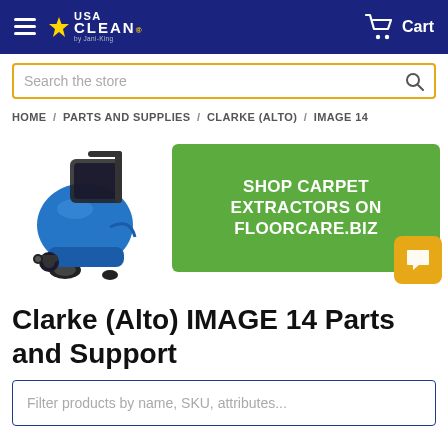USA CLEAN by Jani-King — Cart
Search the store
HOME / PARTS AND SUPPLIES / CLARKE (ALTO) / IMAGE 14
[Figure (photo): Clarke (Alto) IMAGE 14 carpet extractor machine, blue color, alongside a green promotional banner reading SHOP CARPET EXTRACTORS ON FLOORCARE.BIZ with a yellow chat bubble icon]
Clarke (Alto) IMAGE 14 Parts and Support
Filter products by name, SKU, attributes...